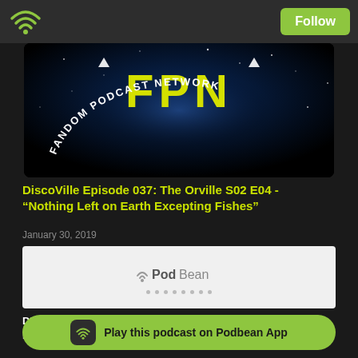Podbean podcast app header with wifi icon and Follow button
[Figure (illustration): FPN Fandom Podcast Network logo on dark space background with stars, showing 'FPN' in yellow block letters and 'FANDOM PODCAST NETWORK' text arranged in an arc]
DiscoVille Episode 037: The Orville S02 E04 - “Nothing Left on Earth Excepting Fishes”
January 30, 2019
[Figure (screenshot): PodBean embedded audio player widget with PodBean logo and loading dots]
DiscoVille Episode 037: The Orville S02 E04 - "Nothing Left on Earth Excepting Fishes"
Welcome to DiscoVille where we discuss both Star Trek DISCOvery AND The OrVILLE here on the Fandom Podcast Network. Both of these shows and today's